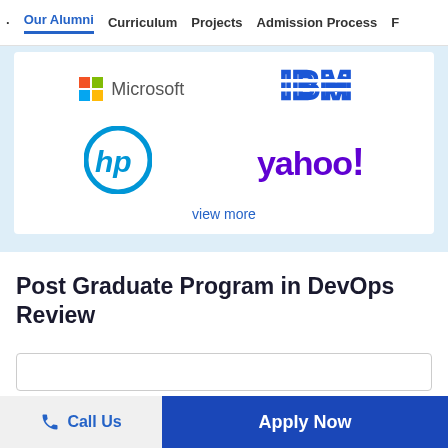Our Alumni  Curriculum  Projects  Admission Process  F
[Figure (logo): Company logos on white card: Microsoft, IBM, HP, Yahoo!]
view more
Post Graduate Program in DevOps Review